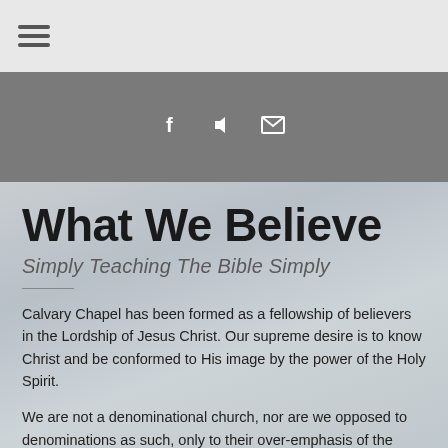≡ (hamburger menu icon)
[Figure (infographic): Dark gray header bar with three social/link icons: Facebook (f), a speaker/audio icon, and an envelope/email icon, displayed in white on a gray background]
What We Believe
Simply Teaching The Bible Simply
Calvary Chapel has been formed as a fellowship of believers in the Lordship of Jesus Christ. Our supreme desire is to know Christ and be conformed to His image by the power of the Holy Spirit.
We are not a denominational church, nor are we opposed to denominations as such, only to their over-emphasis of the doctrinal